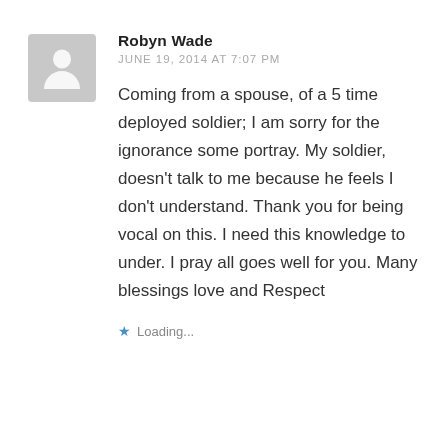[Figure (illustration): Gray placeholder avatar icon showing a silhouette of a person (head and shoulders) on a gray rounded square background]
Robyn Wade
JUNE 19, 2014 AT 7:07 PM
Coming from a spouse, of a 5 time deployed soldier; I am sorry for the ignorance some portray. My soldier, doesn't talk to me because he feels I don't understand. Thank you for being vocal on this. I need this knowledge to under. I pray all goes well for you. Many blessings love and Respect
Loading...